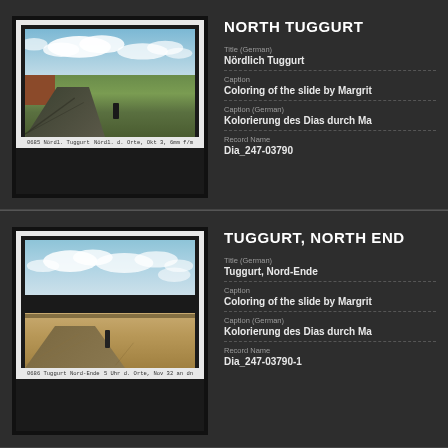[Figure (photo): Historic colorized lantern slide photograph showing flat landscape near North Tuggurt, Algeria. A lone figure stands on a path with green fields and a blue sky with clouds. Red/brown wall visible on left edge. White border with handwritten caption strip at bottom reading '0685 Nördl. Tuggurt' and additional handwritten text.]
NORTH TUGGURT
Title (German)
Nördlich Tuggurt
Caption
Coloring of the slide by Margrit
Caption (German)
Kolorierung des Dias durch Ma
Record Name
Dia_247-03790
[Figure (photo): Historic colorized lantern slide photograph showing desert landscape near Tuggurt North End, Algeria. A lone figure stands on a sandy road with desert terrain and a pale blue sky with clouds. White border with handwritten caption strip at bottom reading '0686 Tuggurt Nord-Ende' and additional handwritten text.]
TUGGURT, NORTH END
Title (German)
Tuggurt, Nord-Ende
Caption
Coloring of the slide by Margrit
Caption (German)
Kolorierung des Dias durch Ma
Record Name
Dia_247-03790-1